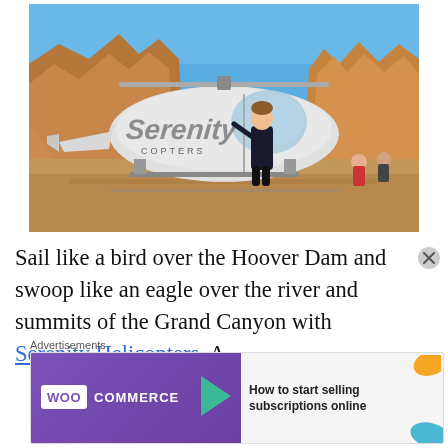[Figure (photo): A man in dark clothing standing in front of a white helicopter with 'Serenity Copters' branding, parked at the base of the Grand Canyon with rocky canyon walls and clear blue sky in background. Other people visible in the background.]
Sail like a bird over the Hoover Dam and swoop like an eagle over the river and summits of the Grand Canyon with Serenity Helicopters. A
Advertisements
[Figure (screenshot): WooCommerce advertisement banner with purple background, WOO COMMERCE logo with teal arrow, and text 'How to start selling subscriptions online']